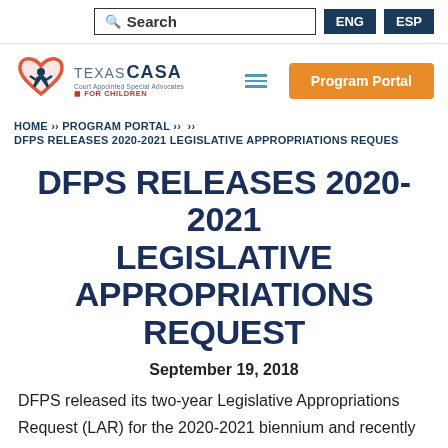Search | ENG | ESP
[Figure (logo): Texas CASA - Court Appointed Special Advocates For Children logo with heart and figure icon]
HOME >> PROGRAM PORTAL >> >>
DFPS RELEASES 2020-2021 LEGISLATIVE APPROPRIATIONS REQUEST
DFPS RELEASES 2020-2021 LEGISLATIVE APPROPRIATIONS REQUEST
September 19, 2018
DFPS released its two-year Legislative Appropriations Request (LAR) for the 2020-2021 biennium and recently presented it before representatives of the Governor's office